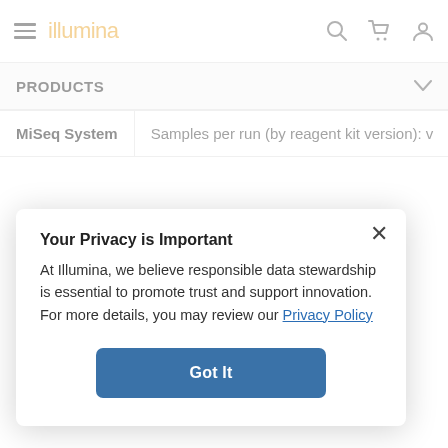illumina — navigation bar with hamburger menu, search, cart, and user icons
PRODUCTS
| MiSeq System | Samples per run (by reagent kit version): v |
| --- | --- |
Product Comparison
Your Privacy is Important
At Illumina, we believe responsible data stewardship is essential to promote trust and support innovation. For more details, you may review our Privacy Policy
Got It